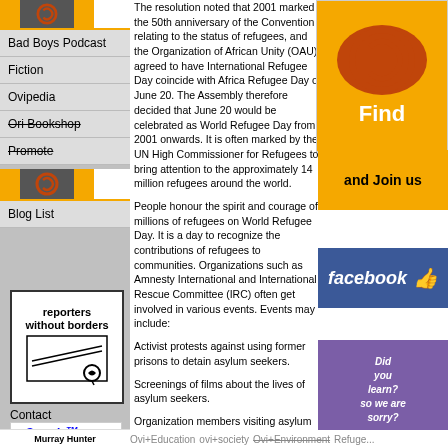[Figure (screenshot): Left sidebar with navigation links: Bad Boys Podcast, Fiction, Ovipedia, Ori Bookshop, Promote, Blog List, and reporters without borders logo, Contact, Google search bar]
The resolution noted that 2001 marked the 50th anniversary of the Convention relating to the status of refugees, and the Organization of African Unity (OAU) agreed to have International Refugee Day coincide with Africa Refugee Day on June 20. The Assembly therefore decided that June 20 would be celebrated as World Refugee Day from 2001 onwards. It is often marked by the UN High Commissioner for Refugees to bring attention to the approximately 14 million refugees around the world.
People honour the spirit and courage of millions of refugees on World Refugee Day. It is a day to recognize the contributions of refugees to communities. Organizations such as Amnesty International and International Rescue Committee (IRC) often get involved in various events. Events may include:
Activist protests against using former prisons to detain asylum seekers.
Screenings of films about the lives of asylum seekers.
Organization members visiting asylum seekers in detention.
Letters or petitions to governments on the treatment of people in detention.
Some communities dedicate an entire week that includes activities to encourage people to think about the lives of refugees and what it means to secure place to that one can see as home.
[Figure (illustration): Orange circular Ovi logo overlapping Find text advertisement]
[Figure (illustration): Orange banner with 'and Join us' bold text]
[Figure (screenshot): Facebook blue banner with thumbs up icon]
[Figure (illustration): Purple banner with 'Did you learn? so we are sorry?' italic text]
Ovi+Education ovi+society Ovi+Environment Refuge... Murray Hunter